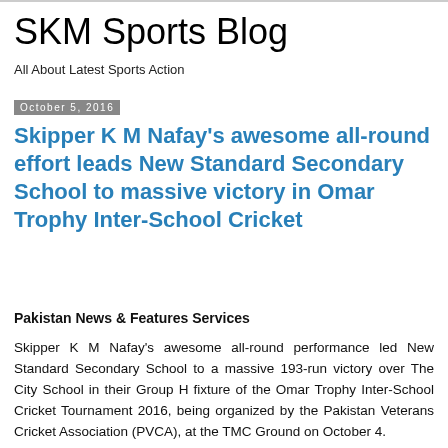SKM Sports Blog
All About Latest Sports Action
October 5, 2016
Skipper K M Nafay's awesome all-round effort leads New Standard Secondary School to massive victory in Omar Trophy Inter-School Cricket
Pakistan News & Features Services
Skipper K M Nafay's awesome all-round performance led New Standard Secondary School to a massive 193-run victory over The City School in their Group H fixture of the Omar Trophy Inter-School Cricket Tournament 2016, being organized by the Pakistan Veterans Cricket Association (PVCA), at the TMC Ground on October 4.